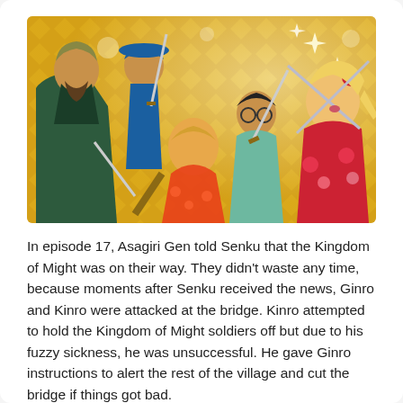[Figure (illustration): Anime illustration showing five characters in action poses with swords/weapons, set against a gold diamond-pattern background. Characters include a large man with a beard in dark clothing, a man in a blue hat holding a sword, a girl in an orange floral kimono, a young man with glasses, and a blonde girl in a red floral kimono.]
In episode 17, Asagiri Gen told Senku that the Kingdom of Might was on their way. They didn't waste any time, because moments after Senku received the news, Ginro and Kinro were attacked at the bridge. Kinro attempted to hold the Kingdom of Might soldiers off but due to his fuzzy sickness, he was unsuccessful. He gave Ginro instructions to alert the rest of the village and cut the bridge if things got bad.